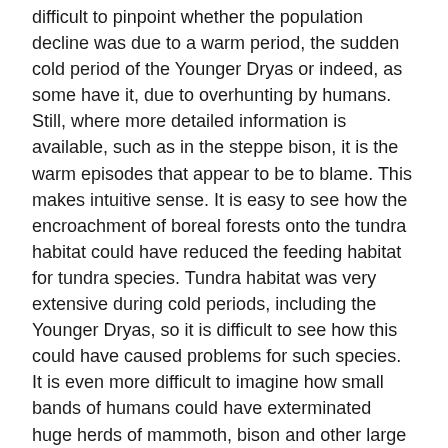difficult to pinpoint whether the population decline was due to a warm period, the sudden cold period of the Younger Dryas or indeed, as some have it, due to overhunting by humans. Still, where more detailed information is available, such as in the steppe bison, it is the warm episodes that appear to be to blame. This makes intuitive sense. It is easy to see how the encroachment of boreal forests onto the tundra habitat could have reduced the feeding habitat for tundra species. Tundra habitat was very extensive during cold periods, including the Younger Dryas, so it is difficult to see how this could have caused problems for such species. It is even more difficult to imagine how small bands of humans could have exterminated huge herds of mammoth, bison and other large ungulates in the vastness of Siberia.
So, will the polar bear go extinct?
It is clear from the above that climatic warming and the associated reduction in the amount of tundra habitat can